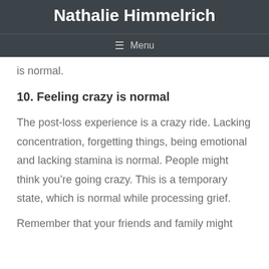Nathalie Himmelrich
Menu
is normal.
10. Feeling crazy is normal
The post-loss experience is a crazy ride. Lacking concentration, forgetting things, being emotional and lacking stamina is normal. People might think you’re going crazy. This is a temporary state, which is normal while processing grief.
Remember that your friends and family might